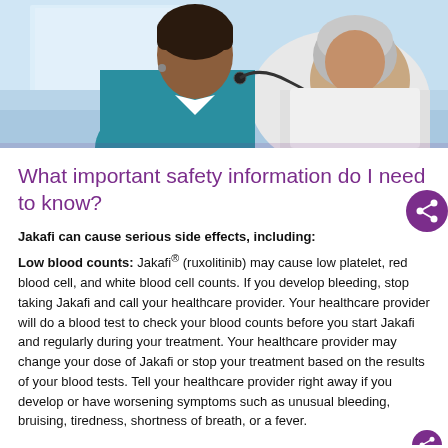[Figure (photo): A female healthcare provider wearing teal scrubs using a stethoscope to examine an elderly patient in a clinical setting]
What important safety information do I need to know?
Jakafi can cause serious side effects, including:
Low blood counts: Jakafi® (ruxolitinib) may cause low platelet, red blood cell, and white blood cell counts. If you develop bleeding, stop taking Jakafi and call your healthcare provider. Your healthcare provider will do a blood test to check your blood counts before you start Jakafi and regularly during your treatment. Your healthcare provider may change your dose of Jakafi or stop your treatment based on the results of your blood tests. Tell your healthcare provider right away if you develop or have worsening symptoms such as unusual bleeding, bruising, tiredness, shortness of breath, or a fever.